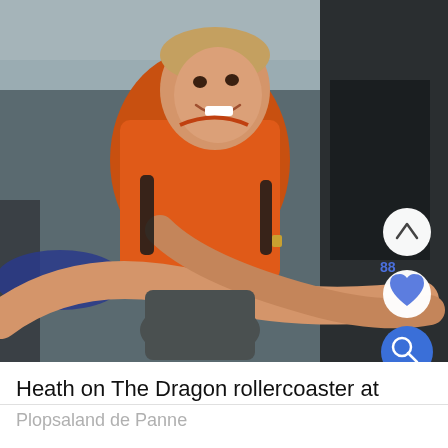[Figure (photo): A smiling young boy wearing an orange shirt seated in a roller coaster car, with an adult's arm holding him. UI overlay buttons visible: up chevron, heart (88 likes), and blue search icon.]
Heath on The Dragon rollercoaster at
Plopsaland de Panne